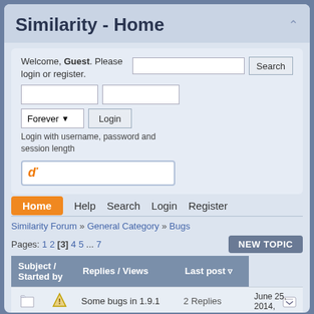Similarity - Home
Welcome, Guest. Please login or register.
Login with username, password and session length
[Figure (other): CAPTCHA input box with orange icon]
Home  Help  Search  Login  Register
Similarity Forum » General Category » Bugs
Pages: 1 2 [3] 4 5 ... 7
|  | Subject / Started by | Replies / Views | Last post |
| --- | --- | --- | --- |
|  | Some bugs in 1.9.1 | 2 Replies | June 25, 2014, |